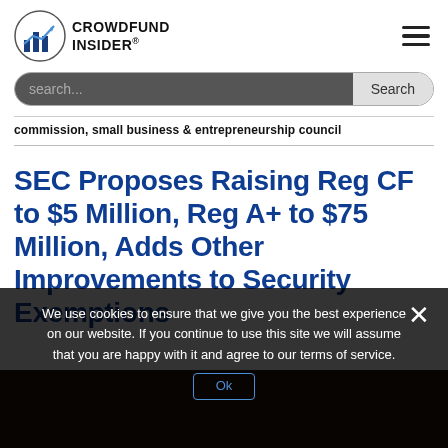[Figure (logo): Crowdfund Insider logo: circular icon with bar chart and upward arrow, next to bold text CROWDFUND INSIDER with registered trademark symbol]
search...
commission, small business & entrepreneurship council
SEC Proposes Raising Reg CF to $5 Million, Reg A+ to $75 Million, Adds Other Improvements to Security Exemptions
We use cookies to ensure that we give you the best experience on our website. If you continue to use this site we will assume that you are happy with it and agree to our terms of service.